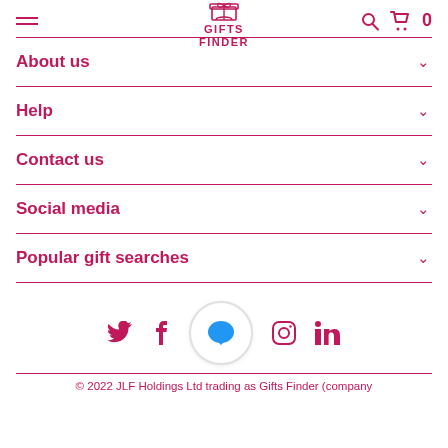GIFTS FINDER
About us
Help
Contact us
Social media
Popular gift searches
[Figure (infographic): Social media icons row: Twitter, Facebook, chat bubble, Instagram, LinkedIn]
© 2022 JLF Holdings Ltd trading as Gifts Finder (company